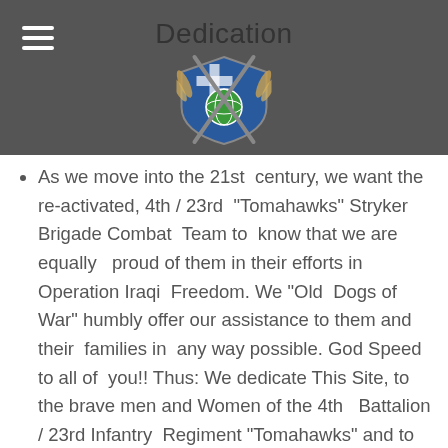Dedication
[Figure (logo): Military unit crest/shield logo with crossed weapons, a globe, and decorative feathers, for 4th/23rd Tomahawks unit]
As we move into the 21st century, we want the re-activated, 4th / 23rd "Tomahawks" Stryker Brigade Combat Team to know that we are equally proud of them in their efforts in Operation Iraqi Freedom. We "Old Dogs of War" humbly offer our assistance to them and their families in any way possible. God Speed to all of you!! Thus: We dedicate This Site, to the brave men and Women of the 4th Battalion / 23rd Infantry Regiment "Tomahawks" and to our fallen brethren who will live within our